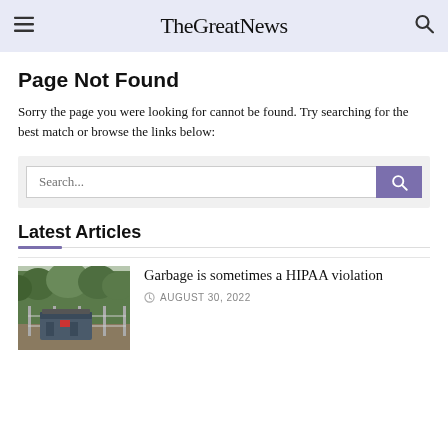TheGreatNews
Page Not Found
Sorry the page you were looking for cannot be found. Try searching for the best match or browse the links below:
[Figure (screenshot): Search bar with text input placeholder 'Search...' and a purple search button with magnifying glass icon]
Latest Articles
[Figure (photo): Outdoor photo showing dumpsters or garbage containers behind a chain-link fence, surrounded by trees]
Garbage is sometimes a HIPAA violation
AUGUST 30, 2022